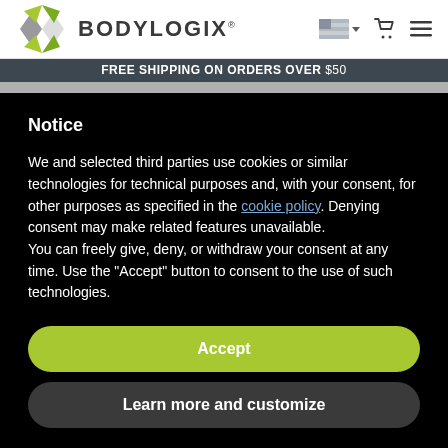BODYLOGIX
FREE SHIPPING ON ORDERS OVER $50
Notice
We and selected third parties use cookies or similar technologies for technical purposes and, with your consent, for other purposes as specified in the cookie policy. Denying consent may make related features unavailable.
You can freely give, deny, or withdraw your consent at any time. Use the "Accept" button to consent to the use of such technologies.
Accept
Learn more and customize